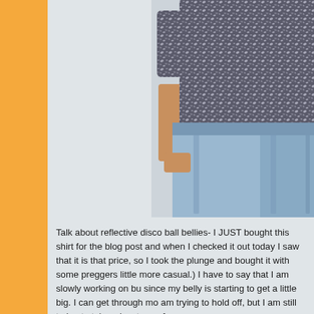[Figure (photo): A person wearing a silver/grey sequined short-sleeve top and light blue skinny jeans, shown from the neck down against a light grey background. The sequined top is glittery and reflective. The person's arms are at their sides.]
Talk about reflective disco ball bellies- I JUST bought this shirt for the blog post and when I checked it out today I saw that it is that price, so I took the plunge and bought it with some preggers little more casual.) I have to say that I am slowly working on bu since my belly is starting to get a little big. I can get through mo am trying to hold off, but I am still trying to take advantage of s